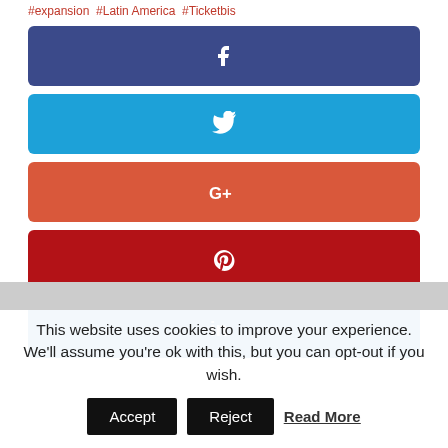#expansion #Latin America #Ticketbis
[Figure (other): Facebook share button - dark blue rounded rectangle with white 'f' icon]
[Figure (other): Twitter share button - light blue rounded rectangle with white bird icon]
[Figure (other): Google+ share button - orange-red rounded rectangle with white G+ icon]
[Figure (other): Pinterest share button - dark red rounded rectangle with white P icon]
[Figure (other): LinkedIn share button - medium blue rounded rectangle with white 'in' icon]
This website uses cookies to improve your experience. We'll assume you're ok with this, but you can opt-out if you wish.
Accept  Reject  Read More